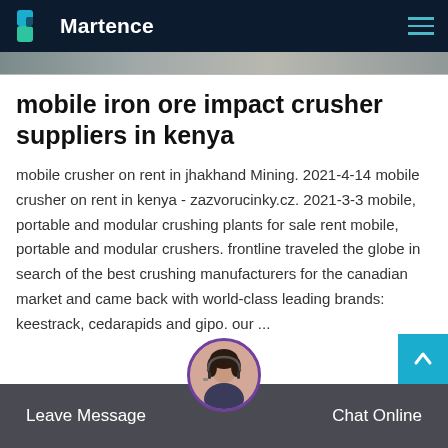Martence
[Figure (photo): Partial image strip showing a blurred outdoor or industrial scene]
mobile iron ore impact crusher suppliers in kenya
mobile crusher on rent in jhakhand Mining. 2021-4-14 mobile crusher on rent in kenya - zazvorucinky.cz. 2021-3-3 mobile, portable and modular crushing plants for sale rent mobile, portable and modular crushers. frontline traveled the globe in search of the best crushing manufacturers for the canadian market and came back with world-class leading brands: keestrack, cedarapids and gipo. our ...
Leave Message  Chat Online